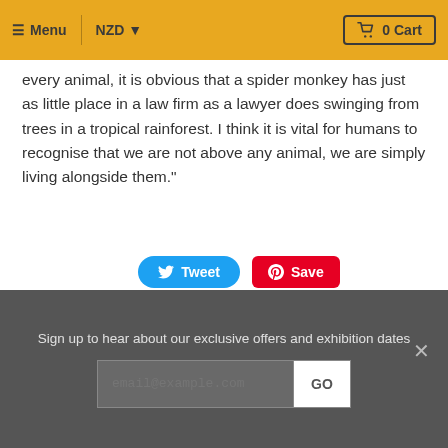Menu | NZD ▾ | 0 Cart
every animal, it is obvious that a spider monkey has just as little place in a law firm as a lawyer does swinging from trees in a tropical rainforest. I think it is vital for humans to recognise that we are not above any animal, we are simply living alongside them."
[Figure (other): Social media sharing buttons: Tweet (Twitter, blue rounded) and Save (Pinterest, red)]
RELATED PRODUCTS
Sign up to hear about our exclusive offers and exhibition dates
[Figure (other): Email signup form with input field placeholder 'email@example.com' and GO button]